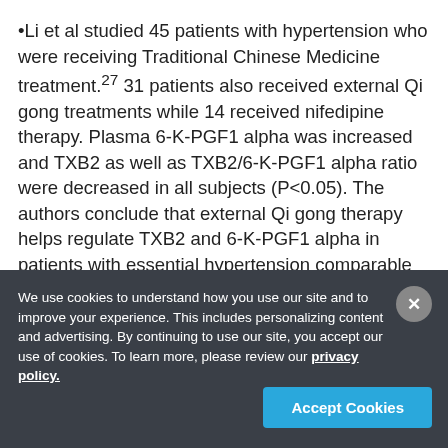•Li et al studied 45 patients with hypertension who were receiving Traditional Chinese Medicine treatment.27 31 patients also received external Qi gong treatments while 14 received nifedipine therapy. Plasma 6-K-PGF1 alpha was increased and TXB2 as well as TXB2/6-K-PGF1 alpha ratio were decreased in all subjects (P<0.05). The authors conclude that external Qi gong therapy helps regulate TXB2 and 6-K-PGF1 alpha in patients with essential hypertension comparable to nifedipine.
We use cookies to understand how you use our site and to improve your experience. This includes personalizing content and advertising. By continuing to use our site, you accept our use of cookies. To learn more, please review our privacy policy.